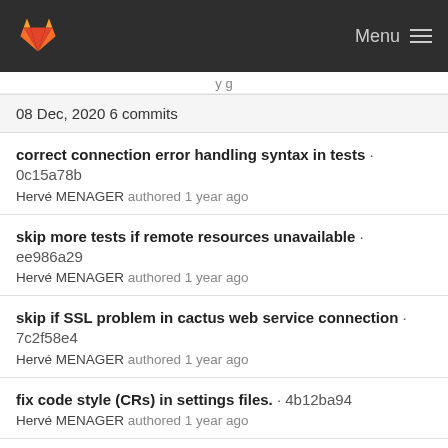Menu
08 Dec, 2020 6 commits
correct connection error handling syntax in tests · 0c15a78b
Hervé MENAGER authored 1 year ago
skip more tests if remote resources unavailable · ee986a29
Hervé MENAGER authored 1 year ago
skip if SSL problem in cactus web service connection · 7c2f58e4
Hervé MENAGER authored 1 year ago
fix code style (CRs) in settings files. · 4b12ba94
Hervé MENAGER authored 1 year ago
Add a web service that retrieves ORCID account details · acd7c526 [...] 
Hervé MENAGER authored 1 year ago